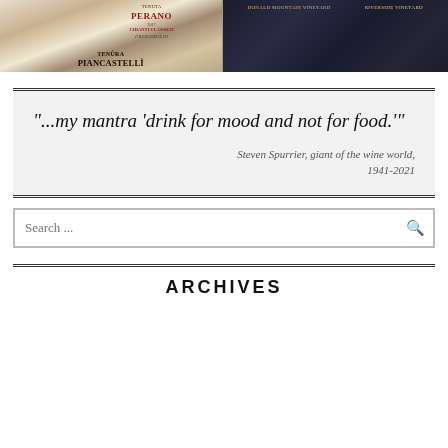[Figure (photo): Two side-by-side photos of wine bottles. Left photo shows bottles including Tenuta Piancastello and Tenuta Perano 2017 Chianti Classico by Frescobaldi. Right photo shows dark wine bottles labeled Donald Mountain Vineyard and Riverside Vineyard.]
"...my mantra ‘drink for mood and not for food.’"
Steven Spurrier, giant of the wine world, 1941-2021
Search ...
ARCHIVES